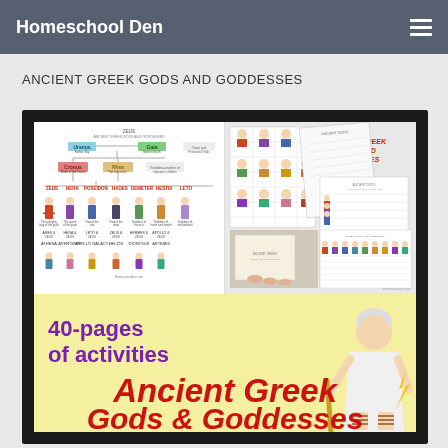Homeschool Den
ANCIENT GREEK GODS AND GODDESSES
[Figure (illustration): A promotional image for an Ancient Greek Gods and Goddesses educational packet. The image contains: (top-left) a genealogy tree showing Greek gods with figures of Uranus, Gaia, Cronus, Rhea, Zeus, Hera, Poseidon, Hades, Demeter, Hestia, and Leto with their children below; (top-right) worksheets with a grid/table of Greek gods and a listing page; (bottom-left) purple text reading '40-pages of activities'; (bottom-right) an illustration of a Greek god figure (Zeus). Large red text at bottom reads 'Ancient Greek Gods & Goddesses'.]